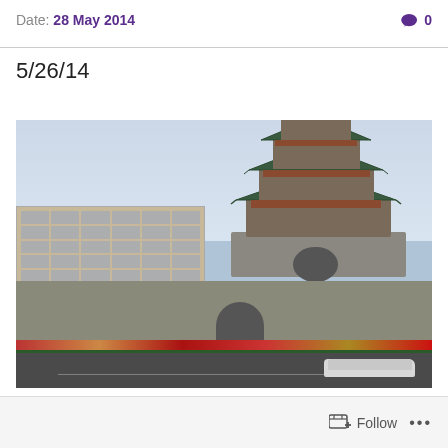Date: 28 May 2014   💬 0
5/26/14
[Figure (photo): Photograph of the Bell Tower of Xi'an, China. The traditional Chinese multi-tiered pagoda tower with green tiled roofs and a golden finial stands atop a stone city wall with an arched gateway. Modern multi-story apartment buildings are visible to the left. Colorful flower beds line the road in the foreground. A white car passes in front.]
Follow  ...